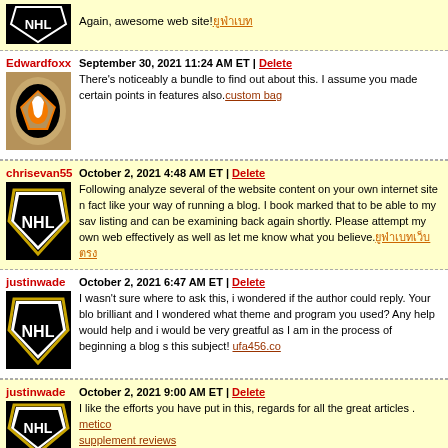Again, awesome web site! [link]
Edwardfoxx
September 30, 2021 11:24 AM ET | Delete
There's noticeably a bundle to find out about this. I assume you made certain points in features also. custom bag
chrisevan55
October 2, 2021 4:48 AM ET | Delete
Following analyze several of the website content on your own internet site nice fact like your way of running a blog. I book marked that to be able to my saved listing and can be examining back again shortly. Please attempt my own web effectively as well as let me know what you believe. [link]
justinwade
October 2, 2021 6:47 AM ET | Delete
I wasn't sure where to ask this, i wondered if the author could reply. Your blog brilliant and I wondered what theme and program you used? Any help would help and i would be very greatful as I am in the process of beginning a blog s this subject! ufa456.co
justinwade
October 2, 2021 9:00 AM ET | Delete
I like the efforts you have put in this, regards for all the great articles . metico supplement reviews